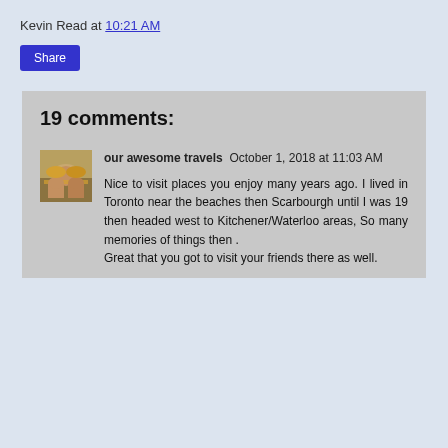Kevin Read at 10:21 AM
Share
19 comments:
[Figure (photo): Avatar photo of two people wearing hats outdoors]
our awesome travels  October 1, 2018 at 11:03 AM
Nice to visit places you enjoy many years ago. I lived in Toronto near the beaches then Scarbourgh until I was 19 then headed west to Kitchener/Waterloo areas, So many memories of things then . Great that you got to visit your friends there as well.